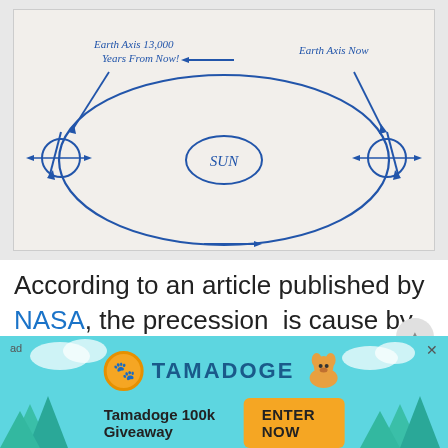[Figure (illustration): Hand-drawn diagram on paper showing Earth's precession orbit around the Sun. An elliptical orbit path is drawn with the Sun labeled in the center (oval labeled 'SUN'). Two positions of Earth are shown on the left and right sides of the orbit, each with circle representing Earth and arrows indicating axis tilt. Labels read 'Earth Axis 13,000 Years From Now!' (top left, with arrow pointing left) and 'Earth Axis Now' (top right). Arrows show orbital direction.]
According to an article published by NASA, the precession  is cause by the equatorial bulge of the Earth as a result of the centrifugal force of the Earth's
[Figure (other): Tamadoge advertisement banner with teal sky and tree silhouette background. Shows Tamadoge logo coin, brand name 'TAMADOGE' in styled text, a cartoon dog image, text 'Tamadoge 100k Giveaway', and an orange 'ENTER NOW' button. Labeled 'ad' in corner with X close button.]